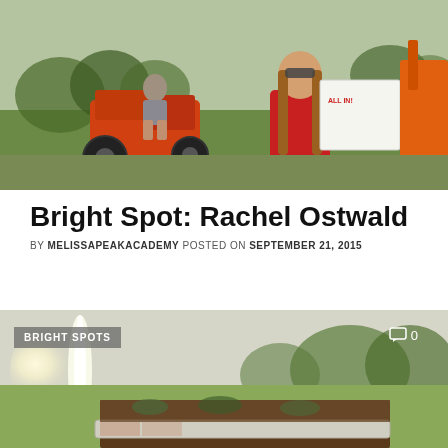[Figure (photo): Outdoor scene showing a woman with long hair and sunglasses wearing a red shirt holding a sign, with another person on an orange tractor/mower in the background at a park or sports field.]
Bright Spot: Rachel Ostwald
BY MELISSAPEAKACADEMY POSTED ON SEPTEMBER 21, 2015
[Figure (photo): Outdoor misty morning scene showing a landscaped garden bed or flower bed with a concrete curb, green grass field, and trees in the background. A 'BRIGHT SPOTS' label overlay appears in the top left and a comment count '0' in the top right.]